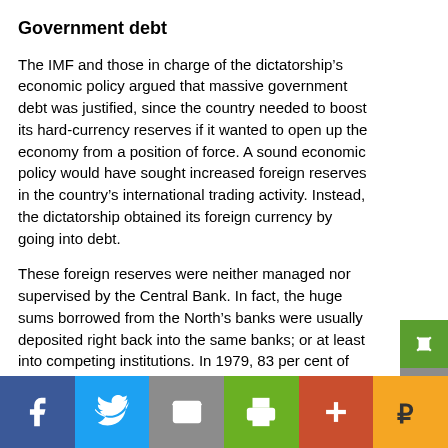Government debt
The IMF and those in charge of the dictatorship’s economic policy argued that massive government debt was justified, since the country needed to boost its hard-currency reserves if it wanted to open up the economy from a position of force. A sound economic policy would have sought increased foreign reserves in the country’s international trading activity. Instead, the dictatorship obtained its foreign currency by going into debt.
These foreign reserves were neither managed nor supervised by the Central Bank. In fact, the huge sums borrowed from the North’s banks were usually deposited right back into the same banks; or at least into competing institutions. In 1979, 83 per cent of these reserves were deposited in foreign banking institutions. The reserves we worth 10.1 billion dollars; deposits in foreign accounts totalled 8.4 billion dollars. That same year, foreign debt rose from 12.5 billion dollars to 19 billion dollars (Olmos, 1990).